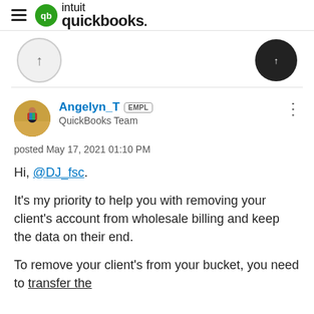[Figure (logo): QuickBooks by Intuit logo with hamburger menu icon on the left and the green QB circle logo followed by 'intuit quickbooks.' wordmark]
[Figure (other): Partially visible navigation buttons — a light circular button on the left and a dark rounded button on the right, both partially cropped at top]
Angelyn_T EMPL QuickBooks Team posted May 17, 2021 01:10 PM
Hi, @DJ_fsc.
It's my priority to help you with removing your client's account from wholesale billing and keep the data on their end.
To remove your client's from your bucket, you need to transfer the